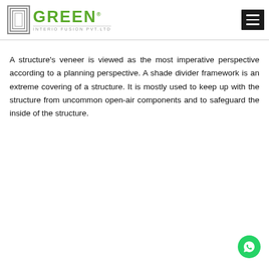[Figure (logo): Green Interio Fusion Pvt. Ltd. logo with building icon and green text]
A structure's veneer is viewed as the most imperative perspective according to a planning perspective. A shade divider framework is an extreme covering of a structure. It is mostly used to keep up with the structure from uncommon open-air components and to safeguard the inside of the structure.